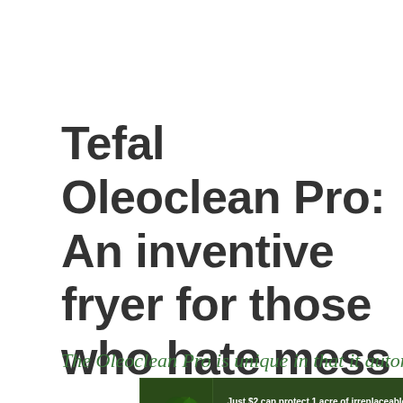Tefal Oleoclean Pro: An inventive fryer for those who hate mess
The Oleoclean Pro is unique in that it automatically
[Figure (infographic): Advertisement banner with dark green forest background showing leaves/foliage on left, white text reading 'Just $2 can protect 1 acre of irreplaceable forest homes in the Amazon. How many acres are you willing to protect?' and a green button saying 'PROTECT FORESTS NOW']